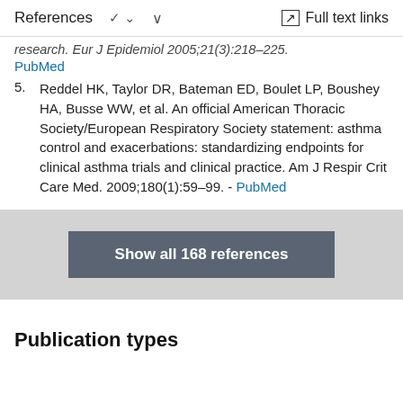References   ∨   Full text links
research. Eur J Epidemiol 2005;21(3):218–225. PubMed
5. Reddel HK, Taylor DR, Bateman ED, Boulet LP, Boushey HA, Busse WW, et al. An official American Thoracic Society/European Respiratory Society statement: asthma control and exacerbations: standardizing endpoints for clinical asthma trials and clinical practice. Am J Respir Crit Care Med. 2009;180(1):59–99. - PubMed
Show all 168 references
Publication types